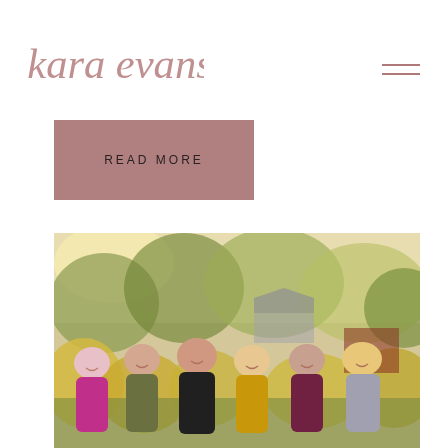kara evans
READ MORE
[Figure (photo): A family group of seven adults posing outdoors with autumn trees and golden foliage in the background, warm evening light]